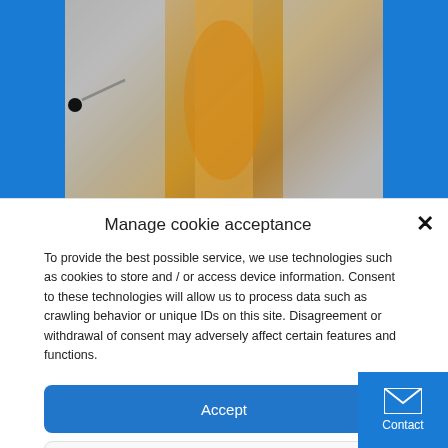[Figure (photo): Top portion of a webpage showing a scientific/industrial machine with blue vertical panels on left and right, and a metallic amber-toned cylindrical component in the center. A small black dot and line are visible on the left blue panel area.]
Manage cookie acceptance
To provide the best possible service, we use technologies such as cookies to store and / or access device information. Consent to these technologies will allow us to process data such as crawling behavior or unique IDs on this site. Disagreement or withdrawal of consent may adversely affect certain features and functions.
Accept
Refuse
Show preferences
Contact